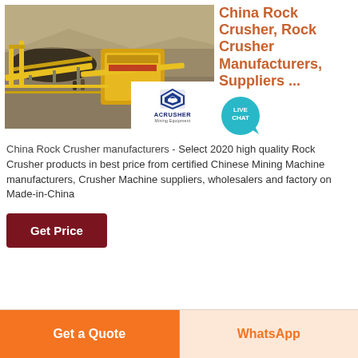[Figure (photo): Mining/crushing equipment site with yellow conveyor belts and machinery at a quarry, with ACRUSHER Mining Equipment logo overlaid]
China Rock Crusher, Rock Crusher Manufacturers, Suppliers ...
China Rock Crusher manufacturers - Select 2020 high quality Rock Crusher products in best price from certified Chinese Mining Machine manufacturers, Crusher Machine suppliers, wholesalers and factory on Made-in-China
Get Price
Get a Quote
WhatsApp